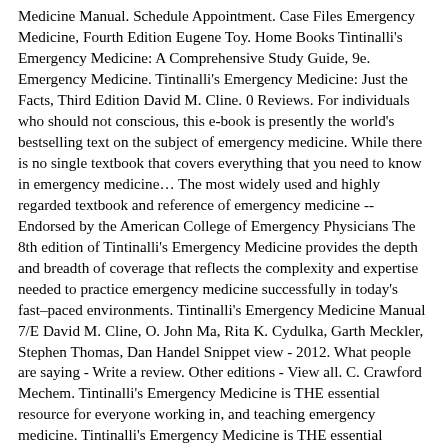Medicine Manual. Schedule Appointment. Case Files Emergency Medicine, Fourth Edition Eugene Toy. Home Books Tintinalli's Emergency Medicine: A Comprehensive Study Guide, 9e. Emergency Medicine. Tintinalli's Emergency Medicine: Just the Facts, Third Edition David M. Cline. 0 Reviews. For individuals who should not conscious, this e-book is presently the world's bestselling text on the subject of emergency medicine. While there is no single textbook that covers everything that you need to know in emergency medicine… The most widely used and highly regarded textbook and reference of emergency medicine -- Endorsed by the American College of Emergency Physicians The 8th edition of Tintinalli's Emergency Medicine provides the depth and breadth of coverage that reflects the complexity and expertise needed to practice emergency medicine successfully in today's fast–paced environments. Tintinalli's Emergency Medicine Manual 7/E David M. Cline, O. John Ma, Rita K. Cydulka, Garth Meckler, Stephen Thomas, Dan Handel Snippet view - 2012. What people are saying - Write a review. Other editions - View all. C. Crawford Mechem. Tintinalli's Emergency Medicine is THE essential resource for everyone working in, and teaching emergency medicine. Tintinalli's Emergency Medicine is THE essential resource for everyone working in, and teaching emergency medicine. Preface. Paperback. Only 3 left in stock. Rosen's Emergency Medicine: Concepts and Clinical Practice: 2-Volume Set Ron Walls MD. 4.5 out of 5 stars 64. Citation. It is an